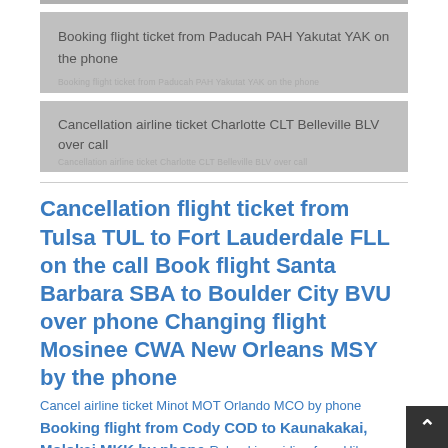Booking flight ticket from Paducah PAH Yakutat YAK on the phone
Cancellation airline ticket Charlotte CLT Belleville BLV over call
Cancellation flight ticket from Tulsa TUL to Fort Lauderdale FLL on the call Book flight Santa Barbara SBA to Boulder City BVU over phone Changing flight Mosinee CWA New Orleans MSY by the phone
Cancel airline ticket Minot MOT Orlando MCO by phone
Booking flight from Cody COD to Kaunakakai, Molokai MKK by phone
Rebooking airline from Hilo, Hawaii ITO Lawton LAW over phone
Rebooking